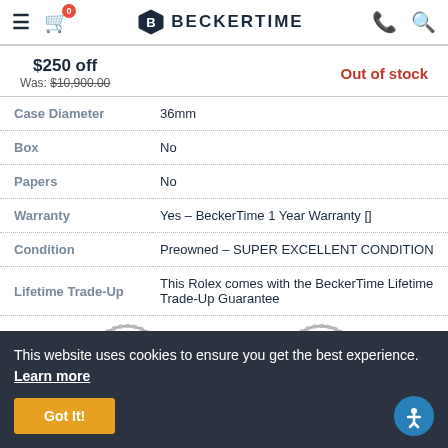BeckerTime
$250 off
Was: $10,900.00
Out of stock
| Case Diameter | 36mm |
| Box | No |
| Papers | No |
| Warranty | Yes – BeckerTime 1 Year Warranty [] |
| Condition | Preowned – SUPER EXCELLENT CONDITION |
| Lifetime Trade-Up | This Rolex comes with the BeckerTime Lifetime Trade-Up Guarantee |
[Figure (illustration): RETURN badge stamp seal]
[Figure (illustration): AUTHENTICITY badge stamp seal]
This website uses cookies to ensure you get the best experience. Learn more
Got It!